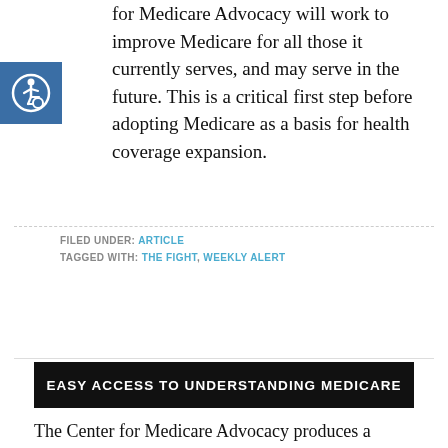for Medicare Advocacy will work to improve Medicare for all those it currently serves, and may serve in the future. This is a critical first step before adopting Medicare as a basis for health coverage expansion.
[Figure (illustration): Accessibility icon: white wheelchair user figure with circular arrows, on a blue square background]
FILED UNDER: ARTICLE
TAGGED WITH: THE FIGHT, WEEKLY ALERT
EASY ACCESS TO UNDERSTANDING MEDICARE
The Center for Medicare Advocacy produces a